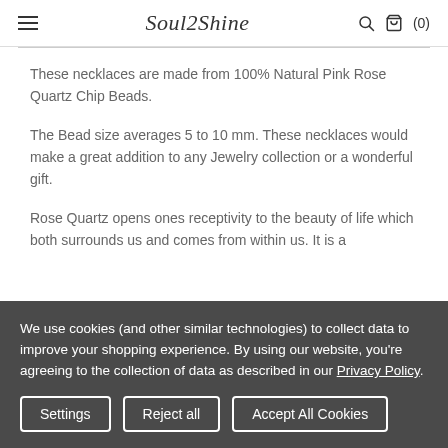Soul2Shine
These necklaces are made from 100% Natural Pink Rose Quartz Chip Beads.
The Bead size averages 5 to 10 mm. These necklaces would make a great addition to any Jewelry collection or a wonderful gift.
Rose Quartz opens ones receptivity to the beauty of life which both surrounds us and comes from within us. It is a
We use cookies (and other similar technologies) to collect data to improve your shopping experience. By using our website, you're agreeing to the collection of data as described in our Privacy Policy.